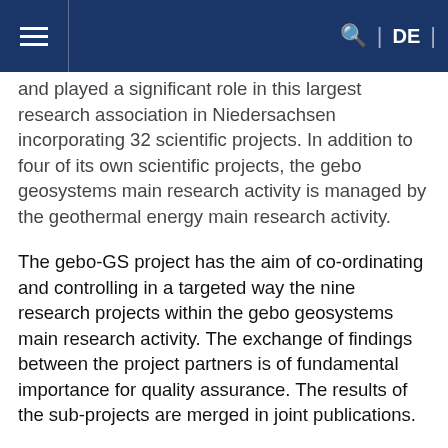☰  Q | DE |
and played a significant role in this largest research association in Niedersachsen incorporating 32 scientific projects. In addition to four of its own scientific projects, the gebo geosystems main research activity is managed by the geothermal energy main research activity.
The gebo-GS project has the aim of co-ordinating and controlling in a targeted way the nine research projects within the gebo geosystems main research activity. The exchange of findings between the project partners is of fundamental importance for quality assurance. The results of the sub-projects are merged in joint publications.
External integration takes place via co-operation between the co-ordinators of the other main research activities, the gebo office, and the Baker Hughes